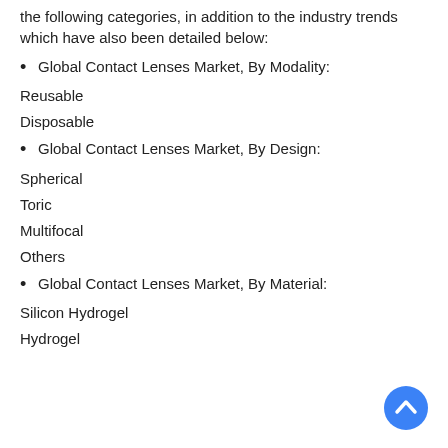the following categories, in addition to the industry trends which have also been detailed below:
Global Contact Lenses Market, By Modality:
Reusable
Disposable
Global Contact Lenses Market, By Design:
Spherical
Toric
Multifocal
Others
Global Contact Lenses Market, By Material:
Silicon Hydrogel
Hydrogel